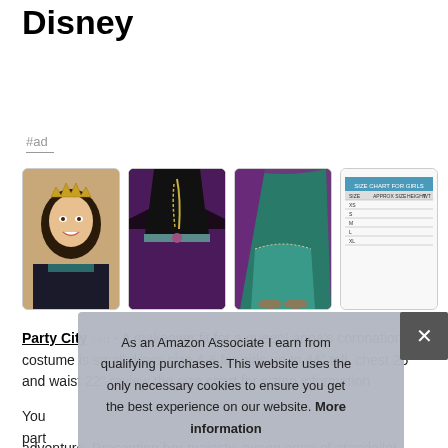Disney
#ad
[Figure (photo): Four product images: a girl wearing a tiara/crown costume, a black and purple dress close-up, a teal and purple dress full view, and a size chart table image]
Party City #ad - A makeover fit for a queen! anna's coronation costume is small dress size 4-6 for girls up to 44" tall, chest 25" and waist 22" review the size chart for sizing information
You part offi adventure. Presenting her majesty, queen anna of arendelle!
As an Amazon Associate I earn from qualifying purchases. This website uses the only necessary cookies to ensure you get the best experience on our website. More information